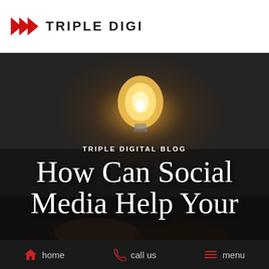TRIPLE DIGITAL
[Figure (illustration): Dark background photo of a glowing light bulb with hands visible, used as hero image background for a blog post]
TRIPLE DIGITAL BLOG
How Can Social Media Help Your Business?
home   call us   menu